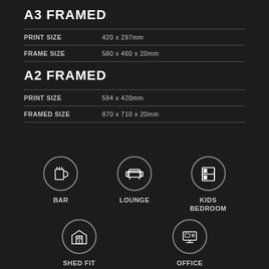A3 FRAMED
| PRINT SIZE | 420 x 297mm |
| FRAME SIZE | 580 x 460 x 20mm |
A2 FRAMED
| PRINT SIZE | 594 x 420mm |
| FRAMED SIZE | 870 x 710 x 20mm |
[Figure (infographic): Five room type icons in circles: BAR (beer mug), LOUNGE (sofa), KIDS BEDROOM (bunk bed), SHED FIT OUT (garage), OFFICE (desk with monitor)]